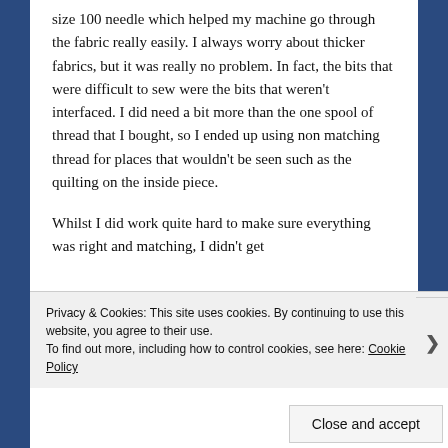size 100 needle which helped my machine go through the fabric really easily. I always worry about thicker fabrics, but it was really no problem. In fact, the bits that were difficult to sew were the bits that weren't interfaced. I did need a bit more than the one spool of thread that I bought, so I ended up using non matching thread for places that wouldn't be seen such as the quilting on the inside piece.
Whilst I did work quite hard to make sure everything was right and matching, I didn't get
Privacy & Cookies: This site uses cookies. By continuing to use this website, you agree to their use.
To find out more, including how to control cookies, see here: Cookie Policy
Close and accept